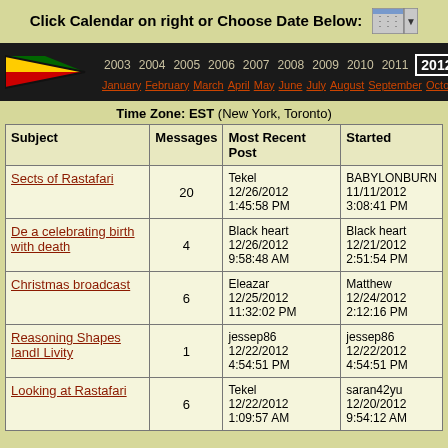Click Calendar on right or Choose Date Below:
| Subject | Messages | Most Recent Post | Started |
| --- | --- | --- | --- |
| Sects of Rastafari | 20 | Tekel
12/26/2012
1:45:58 PM | BABYLONBURN
11/11/2012
3:08:41 PM |
| De a celebrating birth with death | 4 | Black heart
12/26/2012
9:58:48 AM | Black heart
12/21/2012
2:51:54 PM |
| Christmas broadcast | 6 | Eleazar
12/25/2012
11:32:02 PM | Matthew
12/24/2012
2:12:16 PM |
| Reasoning Shapes IandI Livity | 1 | jessep86
12/22/2012
4:54:51 PM | jessep86
12/22/2012
4:54:51 PM |
| Looking at Rastafari | 6 | Tekel
12/22/2012
1:09:57 AM | saran42yu
12/20/2012
9:54:12 AM |